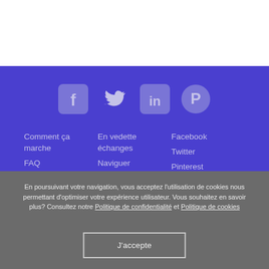[Figure (other): Social media icons: Facebook, Twitter, LinkedIn, Pinterest on purple background]
Comment ça marche
FAQ
Nous contacter
FR: Partnerships
En vedette échanges
Naviguer
FR: Member reviews
Facebook
Twitter
Pinterest
YouTube
En poursuivant votre navigation, vous acceptez l'utilisation de cookies nous permettant d'optimiser votre expérience utilisateur. Vous souhaitez en savoir plus? Consultez notre Politique de confidentialité et Politique de cookies
J'accepte